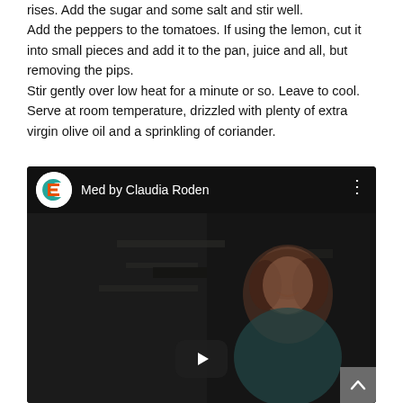rises. Add the sugar and some salt and stir well.
Add the peppers to the tomatoes. If using the lemon, cut it into small pieces and add it to the pan, juice and all, but removing the pips.
Stir gently over low heat for a minute or so. Leave to cool. Serve at room temperature, drizzled with plenty of extra virgin olive oil and a sprinkling of coriander.
[Figure (screenshot): YouTube video thumbnail showing 'Med by Claudia Roden' channel with a woman smiling, dark background, play button visible]